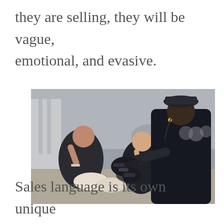they are selling, they will be vague, emotional, and evasive.
[Figure (photo): A street vendor leaning toward two seated women, apparently trying to sell sunglasses. The vendor is wearing a cap and dark jacket and holds many sunglasses. The women appear to be avoiding eye contact. People are visible in the background on a city street.]
Sales language is its own unique